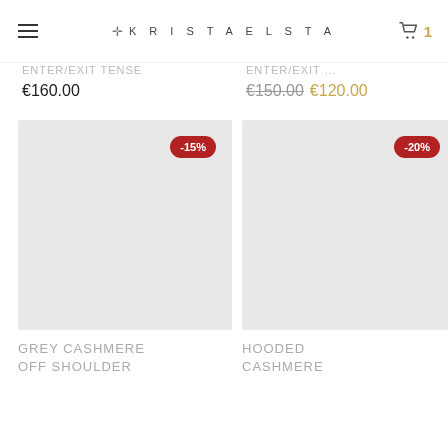KRISTAELSTA
€160.00
€150.00 €120.00
[Figure (photo): Grey cashmere off shoulder product image placeholder with -15% discount badge]
[Figure (photo): Hooded cashmere product image placeholder with -20% discount badge]
GREY CASHMERE OFF SHOULDER
HOODED CASHMERE